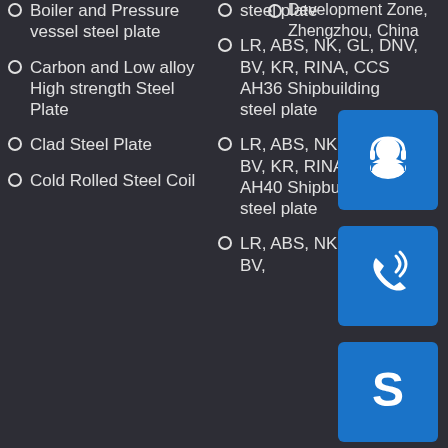Boiler and Pressure vessel steel plate
Carbon and Low alloy High strength Steel Plate
Clad Steel Plate
Cold Rolled Steel Coil
steel plate
LR, ABS, NK, GL, DNV, BV, KR, RINA, CCS AH36 Shipbuilding steel plate
LR, ABS, NK, GL, DNV, BV, KR, RINA, CCS AH40 Shipbuilding steel plate
LR, ABS, NK, GL, DNV, BV,
Development Zone, Zhengzhou, China
[Figure (illustration): Customer service / headset icon on blue background]
[Figure (illustration): Phone / call icon on blue background]
[Figure (illustration): Skype icon on blue background]